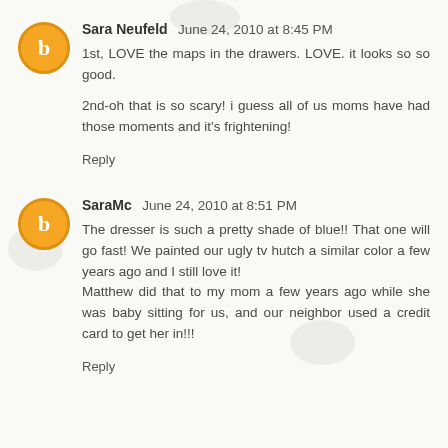Sara Neufeld June 24, 2010 at 8:45 PM
1st, LOVE the maps in the drawers. LOVE. it looks so so good.

2nd-oh that is so scary! i guess all of us moms have had those moments and it's frightening!
Reply
SaraMc June 24, 2010 at 8:51 PM
The dresser is such a pretty shade of blue!! That one will go fast! We painted our ugly tv hutch a similar color a few years ago and I still love it!
Matthew did that to my mom a few years ago while she was baby sitting for us, and our neighbor used a credit card to get her in!!!
Reply